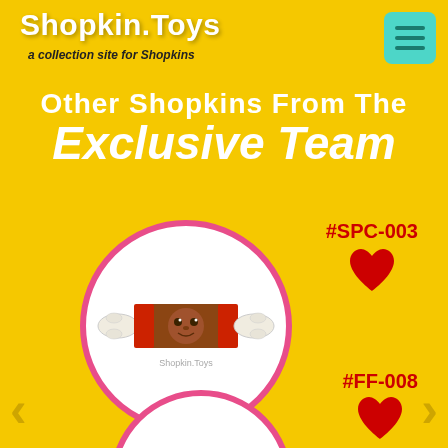Shopkin.Toys — a collection site for Shopkins
Other Shopkins From The Exclusive Team
#SPC-003
[Figure (illustration): Tootsie Cutie Shopkin character inside a pink-bordered white circle — a cartoon tootsie roll candy wrapper with a brown chocolate center, red stripes, and cute eyes, with Shopkin.Toys watermark]
Tootsie Cutie
#FF-008
[Figure (illustration): Partially visible Shopkin character in a pink-bordered white circle at bottom of page — pink/magenta colored item visible at top edge]